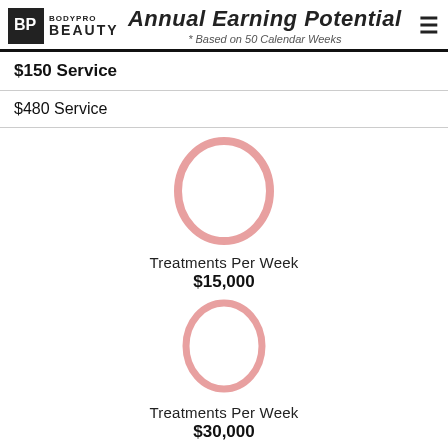Annual Earning Potential * Based on 50 Calendar Weeks
$150 Service
$480 Service
[Figure (infographic): Pink oval/circle shape representing 0 treatments per week with $15,000 annual earning]
Treatments Per Week
$15,000
[Figure (infographic): Pink oval/circle shape representing 0 treatments per week with $30,000 annual earning]
Treatments Per Week
$30,000
[Figure (infographic): Pink oval/circle shape (partially visible) at the bottom of the page]